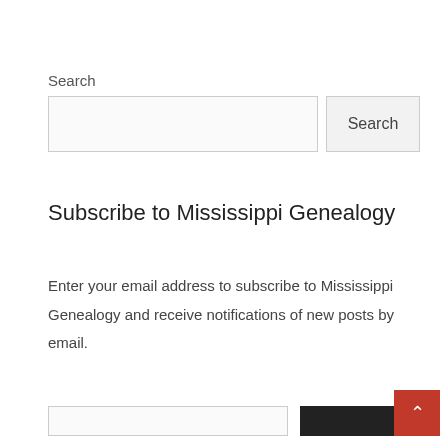Search
[Figure (screenshot): Search input box (text field) and a Search button side by side]
Subscribe to Mississippi Genealogy
Enter your email address to subscribe to Mississippi Genealogy and receive notifications of new posts by email.
[Figure (screenshot): Email subscription input field and a dark subscribe button at the bottom of the page, with a red back-to-top arrow button in the bottom right corner]